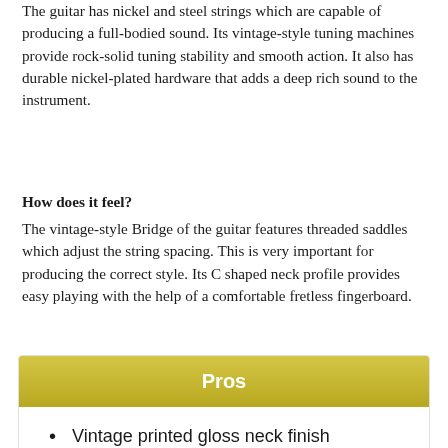The guitar has nickel and steel strings which are capable of producing a full-bodied sound. Its vintage-style tuning machines provide rock-solid tuning stability and smooth action. It also has durable nickel-plated hardware that adds a deep rich sound to the instrument.
How does it feel?
The vintage-style Bridge of the guitar features threaded saddles which adjust the string spacing. This is very important for producing the correct style. Its C shaped neck profile provides easy playing with the help of a comfortable fretless fingerboard.
Pros
Vintage printed gloss neck finish
Nickel-plated hardware